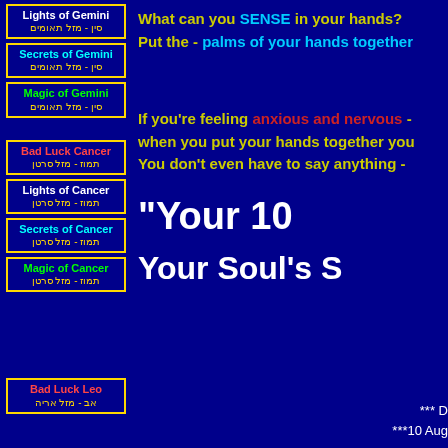Lights of Gemini / סין - מזל תאומים
Secrets of Gemini / סין - מזל תאומים
Magic of Gemini / סין - מזל תאומים
Bad Luck Cancer / תמוז - מזל סרטן
Lights of Cancer / תמוז - מזל סרטן
Secrets of Cancer / תמוז - מזל סרטן
Magic of Cancer / תמוז - מזל סרטן
Bad Luck Leo / אב - מזל אריה
What can you SENSE in your hands? Put the - palms of your hands together
If you're feeling anxious and nervous - when you put your hands together you You don't even have to say anything -
"Your 10
Your Soul's S
*** D
***10 Aug